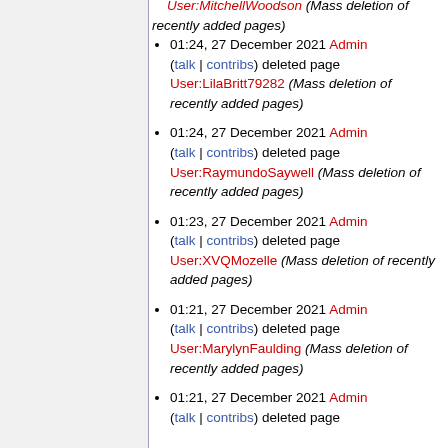User:MitchellWoodson (Mass deletion of recently added pages)
01:24, 27 December 2021 Admin (talk | contribs) deleted page User:LilaBritt79282 (Mass deletion of recently added pages)
01:24, 27 December 2021 Admin (talk | contribs) deleted page User:RaymundoSaywell (Mass deletion of recently added pages)
01:23, 27 December 2021 Admin (talk | contribs) deleted page User:XVQMozelle (Mass deletion of recently added pages)
01:21, 27 December 2021 Admin (talk | contribs) deleted page User:MarylynFaulding (Mass deletion of recently added pages)
01:21, 27 December 2021 Admin (talk | contribs) deleted page